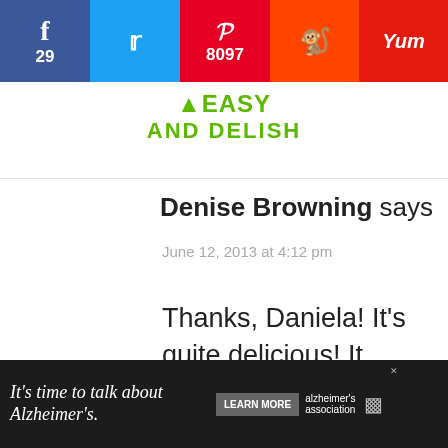[Figure (screenshot): Social sharing bar with Facebook (29), Twitter, Pinterest (8097), Reddit, and Yummly icons]
[Figure (logo): Easy and Delish website logo in green]
Denise Browning says
June 12, 2013 at 4:12 pm
Thanks, Daniela! It's quite delicious! It reminds my childhood in Brazil.
Reply
8.1K
WHAT'S NEXT → Coctel de Camarones...
[Figure (photo): Small circular food photo thumbnail]
[Figure (screenshot): Red circular search button with magnifying glass icon]
[Figure (screenshot): Ad banner: It's time to talk about Alzheimer's. with Learn More button and Alzheimer's Association logo]